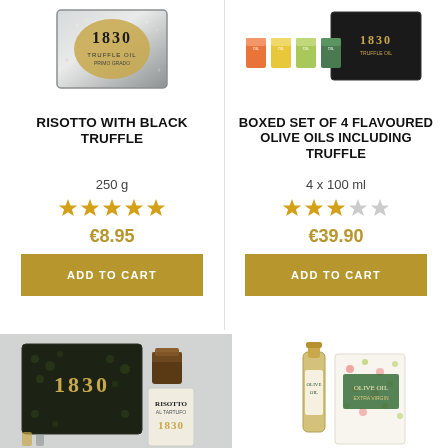[Figure (photo): Product image of Risotto with Black Truffle (1830 branded tin/box), partially cut off at top]
[Figure (photo): Product image of Boxed Set of 4 Flavoured Olive Oils Including Truffle (colourful cans in black tin), partially cut off at top]
RISOTTO WITH BLACK TRUFFLE
BOXED SET OF 4 FLAVOURED OLIVE OILS INCLUDING TRUFFLE
250 g
4 x 100 ml
[Figure (other): 5 gold stars rating]
[Figure (other): 2.5 stars rating (2 full gold, 1 half, 2 grey)]
€8.95
€39.90
ADD TO CART
ADD TO CART
[Figure (photo): Bottom left product: 1830 branded gift set with dark box showing truffles, a jar, and a risotto bag, on grey background with yellow check badge overlay]
[Figure (photo): Bottom right product: olive oil bottle with gold cap and floral/botanical gift bag packaging]